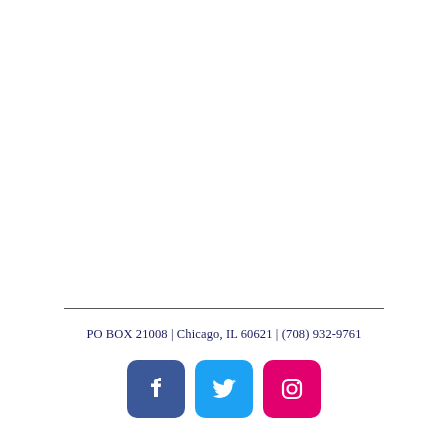PO BOX 21008 | Chicago, IL 60621 | (708) 932-9761
[Figure (illustration): Social media icons: Facebook (blue square), Twitter (light blue square), Instagram (pink square)]